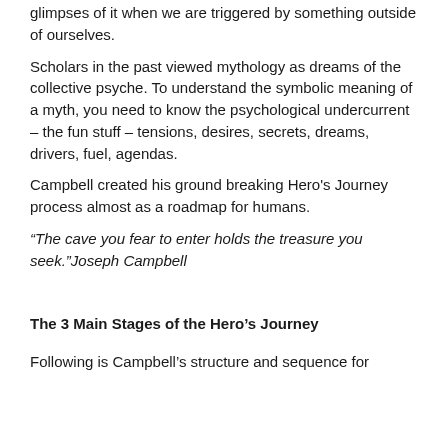glimpses of it when we are triggered by something outside of ourselves.
Scholars in the past viewed mythology as dreams of the collective psyche. To understand the symbolic meaning of a myth, you need to know the psychological undercurrent – the fun stuff – tensions, desires, secrets, dreams, drivers, fuel, agendas.
Campbell created his ground breaking Hero's Journey process almost as a roadmap for humans.
“The cave you fear to enter holds the treasure you seek.”Joseph Campbell
The 3 Main Stages of the Hero’s Journey
Following is Campbell’s structure and sequence for